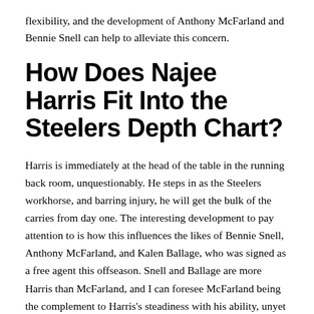flexibility, and the development of Anthony McFarland and Bennie Snell can help to alleviate this concern.
How Does Najee Harris Fit Into the Steelers Depth Chart?
Harris is immediately at the head of the table in the running back room, unquestionably. He steps in as the Steelers workhorse, and barring injury, he will get the bulk of the carries from day one. The interesting development to pay attention to is how this influences the likes of Bennie Snell, Anthony McFarland, and Kalen Ballage, who was signed as a free agent this offseason. Snell and Ballage are more Harris than McFarland, and I can foresee McFarland being the complement to Harris's steadiness with his ability, unyet